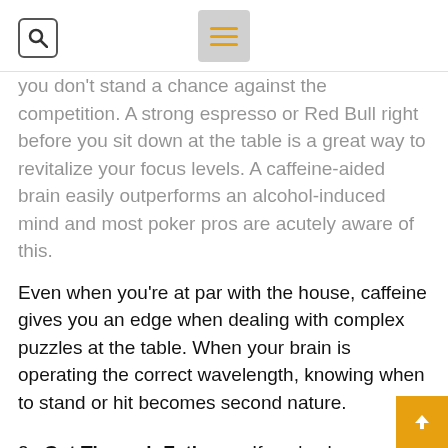[search icon] [hamburger menu]
you don't stand a chance against the competition. A strong espresso or Red Bull right before you sit down at the table is a great way to revitalize your focus levels. A caffeine-aided brain easily outperforms an alcohol-induced mind and most poker pros are acutely aware of this.
Even when you're at par with the house, caffeine gives you an edge when dealing with complex puzzles at the table. When your brain is operating the correct wavelength, knowing when to stand or hit becomes second nature.
2. Cut Through Fatigue – If you've been gambling long enough you know what we're talking about. Unless you're wagering for entertainment, gamb